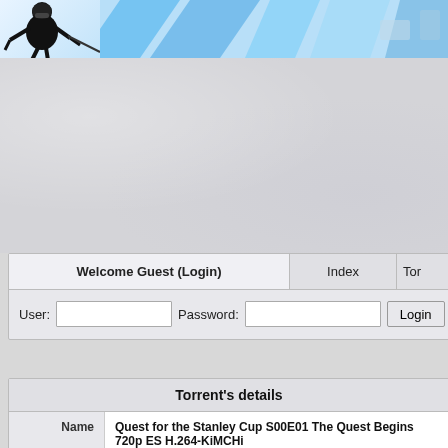[Figure (illustration): Hockey website header banner with a hockey player figure on the left and blue diagonal stripe design on the right]
Welcome Guest (Login)
Index
Tor
User:
Password:
Login
Creat account
Torrent's details
|  |  |
| --- | --- |
| Name | Quest for the Stanley Cup S00E01 The Quest Begins 720p ES H.264-KiMCHi |
| Image |  |